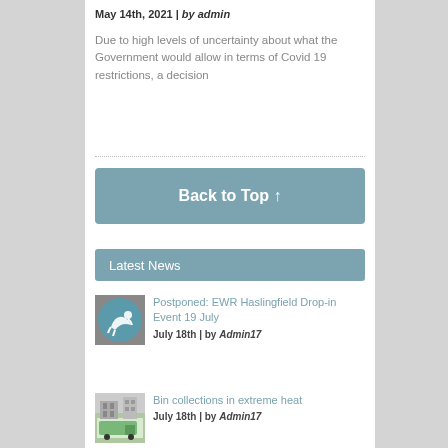May 14th, 2021 | by admin
Due to high levels of uncertainty about what the Government would allow in terms of Covid 19 restrictions, a decision
Back to Top ↑
Latest News
Postponed: EWR Haslingfield Drop-in Event 19 July
July 18th | by Admin17
Bin collections in extreme heat
July 18th | by Admin17